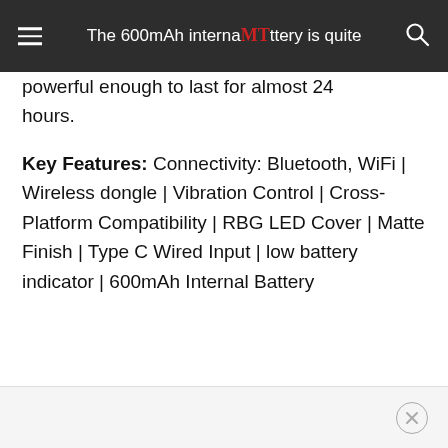The 600mAh internal battery is quite powerful enough to last for almost 24 hours.
The 600mAh internal battery is quite powerful enough to last for almost 24 hours.

Key Features: Connectivity: Bluetooth, WiFi | Wireless dongle | Vibration Control | Cross-Platform Compatibility | RBG LED Cover | Matte Finish | Type C Wired Input | low battery indicator | 600mAh Internal Battery